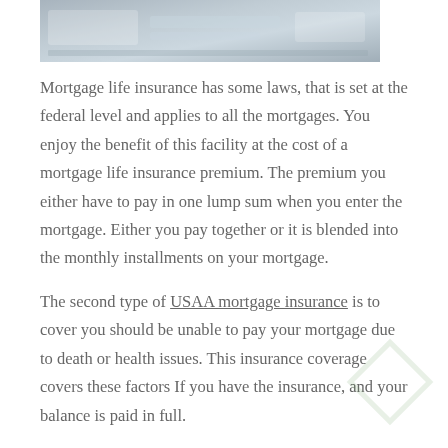[Figure (photo): Partial photo of money/checks, cropped at top of page]
Mortgage life insurance has some laws, that is set at the federal level and applies to all the mortgages. You enjoy the benefit of this facility at the cost of a mortgage life insurance premium. The premium you either have to pay in one lump sum when you enter the mortgage. Either you pay together or it is blended into the monthly installments on your mortgage.
The second type of USAA mortgage insurance is to cover you should be unable to pay your mortgage due to death or health issues. This insurance coverage covers these factors If you have the insurance, and your balance is paid in full.